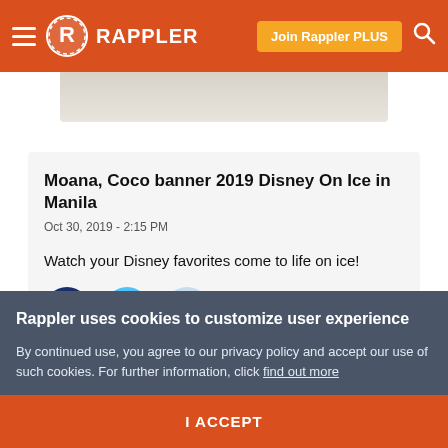Rappler — Join Rappler PLUS
[Figure (photo): Partial image strip at top, showing a light-colored surface (wood/laminate texture)]
Moana, Coco banner 2019 Disney On Ice in Manila
Oct 30, 2019 - 2:15 PM
Watch your Disney favorites come to life on ice!
[Figure (infographic): Three social share buttons: Facebook (dark blue circle with f), Twitter (light blue circle with bird), Reddit (light blue circle with alien icon)]
Rappler uses cookies to customize user experience
By continued use, you agree to our privacy policy and accept our use of such cookies. For further information, click find out more
I ACCEPT